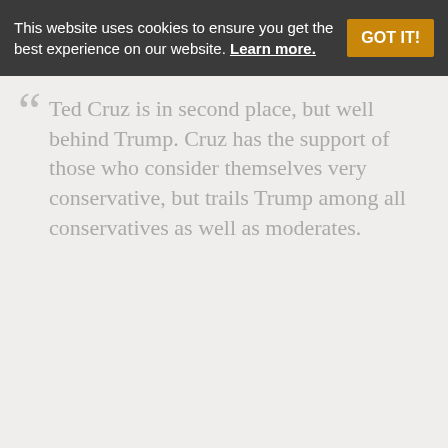This website uses cookies to ensure you get the best experience on our website. Learn more.
[Figure (bar-chart): Republican Primary Poll]
MOE: +/- 5.7%   Source: CBS News / YouGov
Ted Cruz is in second place, but well behind Trump. Cruz has the support of those who consider themselves very conservative, but trails Trump among all conservatives as well as moderates.